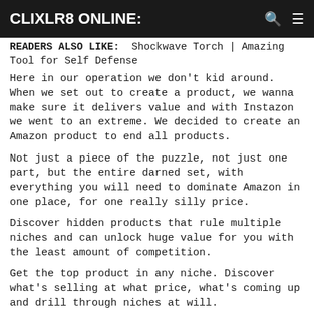CLIXLR8 ONLINE:
READERS ALSO LIKE:  Shockwave Torch | Amazing Tool for Self Defense
Here in our operation we don't kid around. When we set out to create a product, we wanna make sure it delivers value and with Instazon we went to an extreme. We decided to create an Amazon product to end all products.
Not just a piece of the puzzle, not just one part, but the entire darned set, with everything you will need to dominate Amazon in one place, for one really silly price.
Discover hidden products that rule multiple niches and can unlock huge value for you with the least amount of competition.
Get the top product in any niche. Discover what's selling at what price, what's coming up and drill through niches at will.